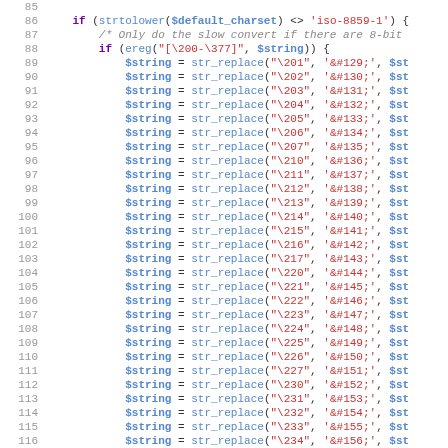Source code listing lines 85–116: PHP charset conversion function with str_replace calls